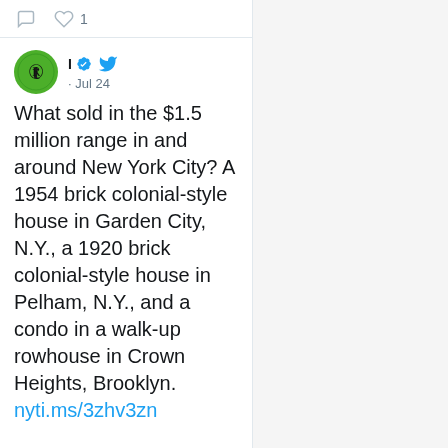[Figure (screenshot): Twitter/social media action bar with comment icon and heart icon with count 1]
I · Jul 24
What sold in the $1.5 million range in and around New York City? A 1954 brick colonial-style house in Garden City, N.Y., a 1920 brick colonial-style house in Pelham, N.Y., and a condo in a walk-up rowhouse in Crown Heights, Brooklyn.
nyti.ms/3zhv3zn